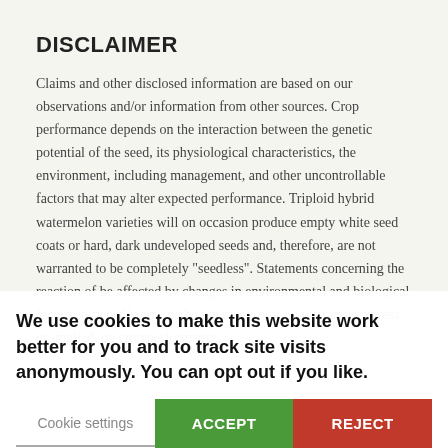DISCLAIMER
Claims and other disclosed information are based on our observations and/or information from other sources. Crop performance depends on the interaction between the genetic potential of the seed, its physiological characteristics, the environment, including management, and other uncontrollable factors that may alter expected performance. Triploid hybrid watermelon varieties will on occasion produce empty white seed coats or hard, dark undeveloped seeds and, therefore, are not warranted to be completely "seedless". Statements concerning the reaction ... be affected by changes in environmental and biological factors, especially new pathogen races, pest ... no warranty, express or implied, on crop performance
We use cookies to make this website work better for you and to track site visits anonymously. You can opt out if you like.